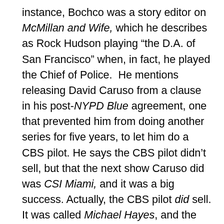instance, Bochco was a story editor on McMillan and Wife, which he describes as Rock Hudson playing “the D.A. of San Francisco” when, in fact, he played the Chief of Police.  He mentions releasing David Caruso from a clause in his post-NYPD Blue agreement, one that prevented him from doing another series for five years, to let him do a CBS pilot. He says the CBS pilot didn’t sell, but that the next show Caruso did was CSI Miami, and it was a big success. Actually, the CBS pilot did sell. It was called Michael Hayes, and the series ran for 21 episodes before being cancelled.  There are errors like this throughout the book that could have been easily avoided if he’d hired a professional copy editor.